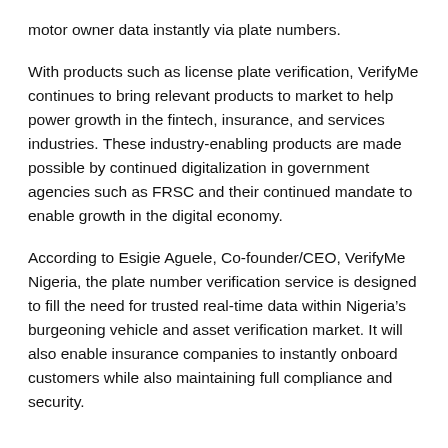motor owner data instantly via plate numbers.
With products such as license plate verification, VerifyMe continues to bring relevant products to market to help power growth in the fintech, insurance, and services industries. These industry-enabling products are made possible by continued digitalization in government agencies such as FRSC and their continued mandate to enable growth in the digital economy.
According to Esigie Aguele, Co-founder/CEO, VerifyMe Nigeria, the plate number verification service is designed to fill the need for trusted real-time data within Nigeria’s burgeoning vehicle and asset verification market. It will also enable insurance companies to instantly onboard customers while also maintaining full compliance and security.